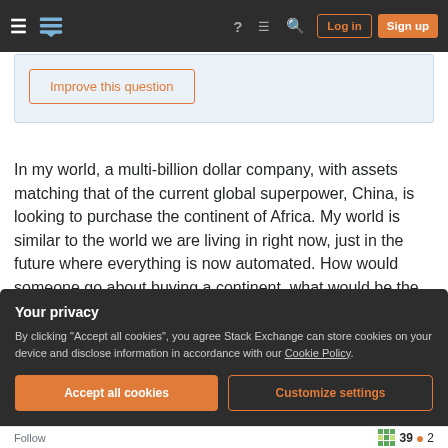Stack Exchange navigation bar with hamburger menu, logo, help, chat, search icons, Log in and Sign up buttons
[Figure (screenshot): Improve this question button inside a light blue question box area]
In my world, a multi-billion dollar company, with assets matching that of the current global superpower, China, is looking to purchase the continent of Africa. My world is similar to the world we are living in right now, just in the future where everything is now automated. How would someone go about buying a continent, what would be the
Your privacy
By clicking "Accept all cookies", you agree Stack Exchange can store cookies on your device and disclose information in accordance with our Cookie Policy.
Accept all cookies   Customize settings
Follow   39 ● 2